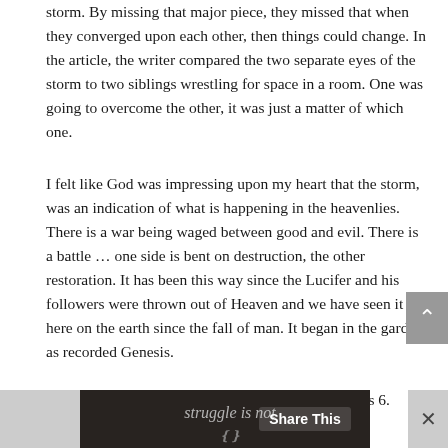storm.  By missing that major piece, they missed that when they converged upon each other, then things could change.  In the article, the writer compared the two separate eyes of the storm to two siblings wrestling for space in a room.  One was going to overcome the other, it was just a matter of which one.
I felt like God was impressing upon my heart that the storm, was an indication of what is happening in the heavenlies.  There is a war being waged between good and evil.  There is a battle … one side is bent on destruction, the other restoration.  It has been this way since the Lucifer and his followers were thrown out of Heaven and we have seen it here on the earth since the fall of man.  It began in the garden as recorded Genesis.
Daniel Chapter 10 talks about it as well as Ephesians 6.
[Figure (screenshot): Bottom banner with dark image background showing text 'struggle is not' partially visible, with a 'Share This' button overlay and a close (x) button on the right]